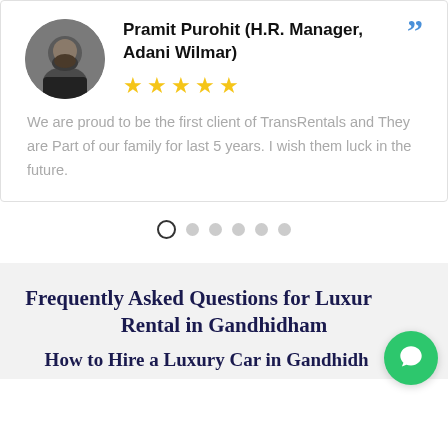Pramit Purohit (H.R. Manager, Adani Wilmar)
[Figure (photo): Circular avatar photo of a bearded man]
★★★★★ (5 stars)
We are proud to be the first client of TransRentals and They are Part of our family for last 5 years. I wish them luck in the future.
[Figure (infographic): Carousel dots navigation: one open circle (active) and five filled grey circles]
Frequently Asked Questions for Luxury Car Rental in Gandhidham
How to Hire a Luxury Car in Gandhidham?